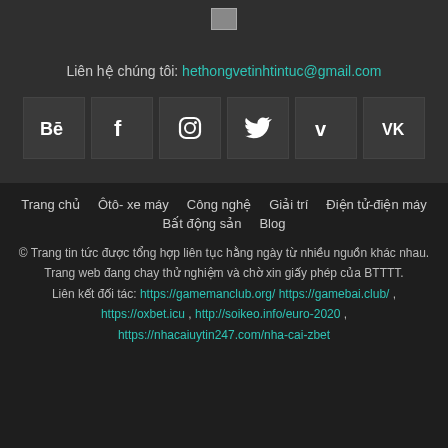[Figure (logo): Small logo image at top]
Liên hệ chúng tôi: hethongvetinhtintuc@gmail.com
[Figure (infographic): Six social media icon buttons: Behance, Facebook, Instagram, Twitter, Vimeo, VK]
Trang chủ   Ôtô- xe máy   Công nghệ   Giải trí   Điện tử-điện máy   Bất động sản   Blog
© Trang tin tức được tổng hợp liên tục hằng ngày từ nhiều nguồn khác nhau. Trang web đang chay thử nghiệm và chờ xin giấy phép của BTTTT. Liên kết đối tác: https://gamemanclub.org/ https://gamebai.club/ , https://oxbet.icu , http://soikeo.info/euro-2020 , https://nhacaiuytin247.com/nha-cai-zbet